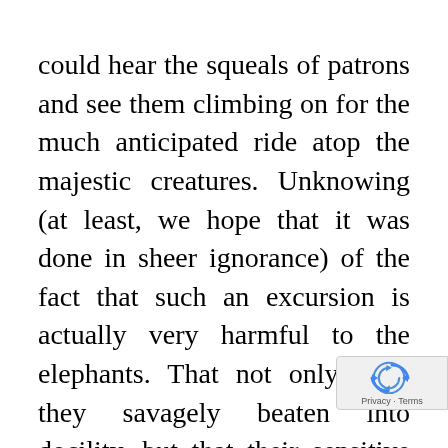could hear the squeals of patrons and see them climbing on for the much anticipated ride atop the majestic creatures. Unknowing (at least, we hope that it was done in sheer ignorance) of the fact that such an excursion is actually very harmful to the elephants. That not only were they savagely beaten into docility, but that their sensitive backs are not built to support the weight.
Of the multiple facilities that exist on that one long stretch of road in the jungle, ENP is the only one where elephants can't be ridden. The only one that nurtures rescued animals with broken legs, hips, with blindness. The only one that also op it's doors to hundreds of stray dogs the Bangkok floods of 2011, and care cats without homes.